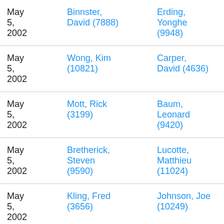| Date | Person 1 | Person 2 | Value |
| --- | --- | --- | --- |
| May 5, 2002 | Binnster, David (7888) | Erding, Yonghe (9948) |  |
| May 5, 2002 | Wong, Kim (10821) | Carper, David (4636) | 0 |
| May 5, 2002 | Mott, Rick (3199) | Baum, Leonard (9420) | 0 |
| May 5, 2002 | Bretherick, Steven (9590) | Lucotte, Matthieu (11024) | 7 |
| May 5, 2002 | Kling, Fred (3656) | Johnson, Joe (10249) | 9 |